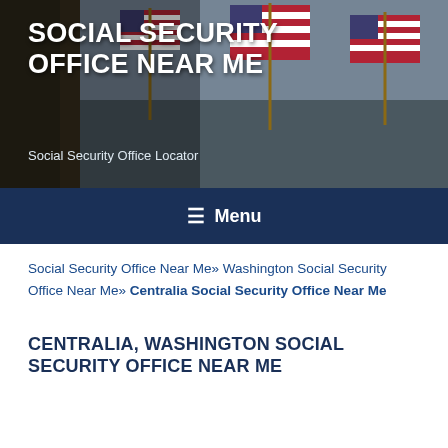[Figure (photo): Website header banner showing people holding American flags with text overlay]
SOCIAL SECURITY OFFICE NEAR ME
Social Security Office Locator
≡ Menu
Social Security Office Near Me» Washington Social Security Office Near Me» Centralia Social Security Office Near Me
CENTRALIA, WASHINGTON SOCIAL SECURITY OFFICE NEAR ME